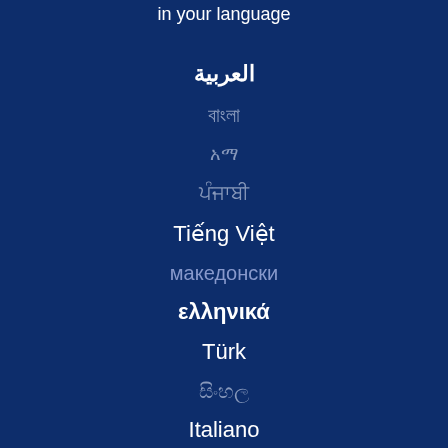in your language
العربية
বাংলা
አማ
ਪੰਜਾਬੀ
Tiếng Việt
македонски
ελληνικά
Türk
සිංහල
Italiano